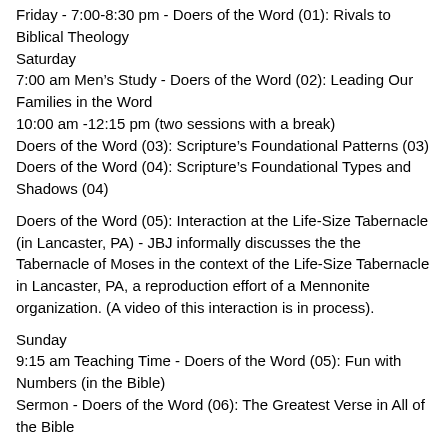Friday - 7:00-8:30 pm - Doers of the Word (01): Rivals to Biblical Theology
Saturday
7:00 am Men's Study - Doers of the Word (02): Leading Our Families in the Word
10:00 am -12:15 pm (two sessions with a break)
Doers of the Word (03): Scripture's Foundational Patterns (03)
Doers of the Word (04): Scripture's Foundational Types and Shadows (04)
Doers of the Word (05): Interaction at the Life-Size Tabernacle (in Lancaster, PA) - JBJ informally discusses the the Tabernacle of Moses in the context of the Life-Size Tabernacle in Lancaster, PA, a reproduction effort of a Mennonite organization. (A video of this interaction is in process).
Sunday
9:15 am Teaching Time - Doers of the Word (05): Fun with Numbers (in the Bible)
Sermon - Doers of the Word (06): The Greatest Verse in All of the Bible